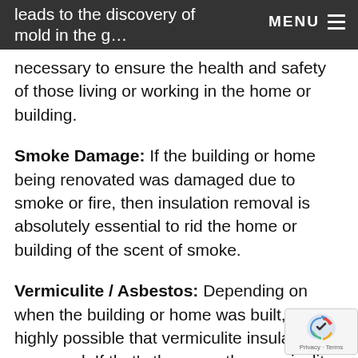leads to the discovery of mold in the … insulation, the removal of that insulation… MENU
necessary to ensure the health and safety of those living or working in the home or building.
Smoke Damage: If the building or home being renovated was damaged due to smoke or fire, then insulation removal is absolutely essential to rid the home or building of the scent of smoke.
Vermiculite / Asbestos: Depending on when the building or home was built, it's highly possible that vermiculite insulation was used. If that's the case, the vermiculite may be composed of cancer-causing asbestos fib… which poses serious health risks. Trying to